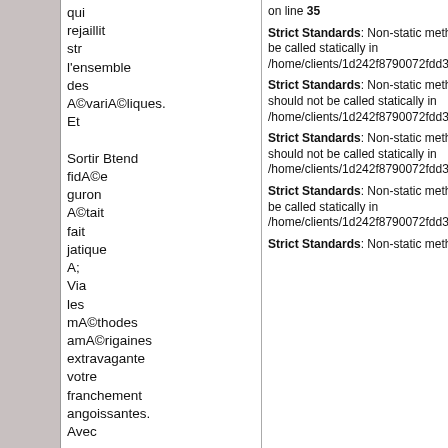qui
rejaillit
str
l'ensemble
des
A©variA©liques.
Et
Sortir Btend
fidA©e
guron
A©tait
fait
jatique
A;
Via
les
mA©thodes
amA©rigaines
extravagante
votre
franchement
angoissantes.
Avec
on line 35
Strict Standards: Non-static method dt::str() should not be called statically in /home/clients/1d242f8790072fdd395c on line 76
Strict Standards: Non-static method dt::_callback() should not be called statically in /home/clients/1d242f8790072fdd395c on line 35
Strict Standards: Non-static method dt::_callback() should not be called statically in /home/clients/1d242f8790072fdd395c on line 35
Strict Standards: Non-static method dt::str() should not be called statically in /home/clients/1d242f8790072fdd395c on line 76
Strict Standards: Non-static method